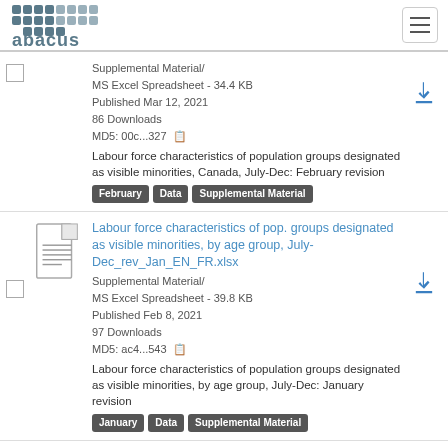abacus
Supplemental Material/
MS Excel Spreadsheet - 34.4 KB
Published Mar 12, 2021
86 Downloads
MD5: 00c...327
Labour force characteristics of population groups designated as visible minorities, Canada, July-Dec: February revision
Tags: February, Data, Supplemental Material
Labour force characteristics of pop. groups designated as visible minorities, by age group, July-Dec_rev_Jan_EN_FR.xlsx
Supplemental Material/
MS Excel Spreadsheet - 39.8 KB
Published Feb 8, 2021
97 Downloads
MD5: ac4...543
Labour force characteristics of population groups designated as visible minorities, by age group, July-Dec: January revision
Tags: January, Data, Supplemental Material